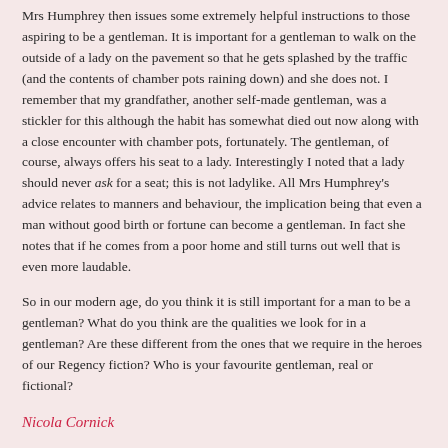Mrs Humphrey then issues some extremely helpful instructions to those aspiring to be a gentleman. It is important for a gentleman to walk on the outside of a lady on the pavement so that he gets splashed by the traffic (and the contents of chamber pots raining down) and she does not. I remember that my grandfather, another self-made gentleman, was a stickler for this although the habit has somewhat died out now along with a close encounter with chamber pots, fortunately. The gentleman, of course, always offers his seat to a lady. Interestingly I noted that a lady should never ask for a seat; this is not ladylike. All Mrs Humphrey's advice relates to manners and behaviour, the implication being that even a man without good birth or fortune can become a gentleman. In fact she notes that if he comes from a poor home and still turns out well that is even more laudable.
So in our modern age, do you think it is still important for a man to be a gentleman? What do you think are the qualities we look for in a gentleman? Are these different from the ones that we require in the heroes of our Regency fiction? Who is your favourite gentleman, real or fictional?
Nicola Cornick